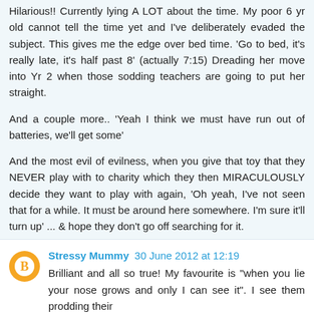Hilarious!! Currently lying A LOT about the time. My poor 6 yr old cannot tell the time yet and I've deliberately evaded the subject. This gives me the edge over bed time. 'Go to bed, it's really late, it's half past 8' (actually 7:15) Dreading her move into Yr 2 when those sodding teachers are going to put her straight.
And a couple more.. 'Yeah I think we must have run out of batteries, we'll get some'
And the most evil of evilness, when you give that toy that they NEVER play with to charity which they then MIRACULOUSLY decide they want to play with again, 'Oh yeah, I've not seen that for a while. It must be around here somewhere. I'm sure it'll turn up' ... & hope they don't go off searching for it.
Reply
Stressy Mummy 30 June 2012 at 12:19
Brilliant and all so true! My favourite is "when you lie your nose grows and only I can see it". I see them prodding their